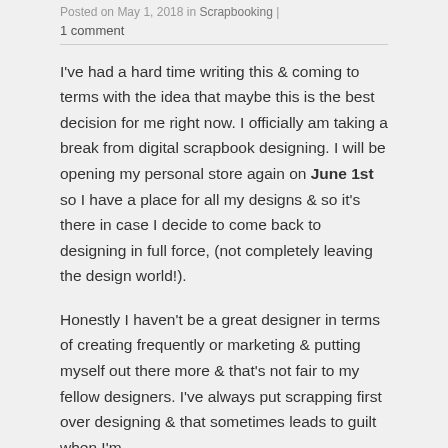Posted on May 1, 2018 in Scrapbooking | 1 comment
I've had a hard time writing this & coming to terms with the idea that maybe this is the best decision for me right now. I officially am taking a break from digital scrapbook designing. I will be opening my personal store again on June 1st so I have a place for all my designs & so it's there in case I decide to come back to designing in full force, (not completely leaving the design world!).
Honestly I haven't be a great designer in terms of creating frequently or marketing & putting myself out there more & that's not fair to my fellow designers. I've always put scrapping first over designing & that sometimes leads to guilt when I'm